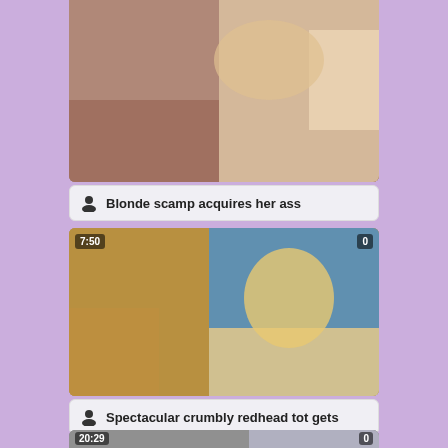[Figure (photo): Video thumbnail showing explicit adult content, first video]
Blonde scamp acquires her ass
[Figure (photo): Video thumbnail showing explicit adult content, second video, duration 7:50, count 0]
Spectacular crumbly redhead tot gets
[Figure (photo): Video thumbnail showing adult content, third video, duration 20:29, count 0]